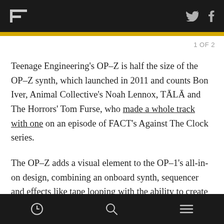F [logo] | Twitter | Facebook
1 OF 2
Teenage Engineering's OP–Z is half the size of the OP–Z synth, which launched in 2011 and counts Bon Iver, Animal Collective's Noah Lennox, TĀLĀ and The Horrors' Tom Furse, who made a whole track with one on an episode of FACT's Against The Clock series.
The OP–Z adds a visual element to the OP–1's all-in-on design, combining an onboard synth, sequencer and effects like tape looping with the ability to create animations and interactive software in conjunction with a
[clock icon] [search icon] [menu icon]